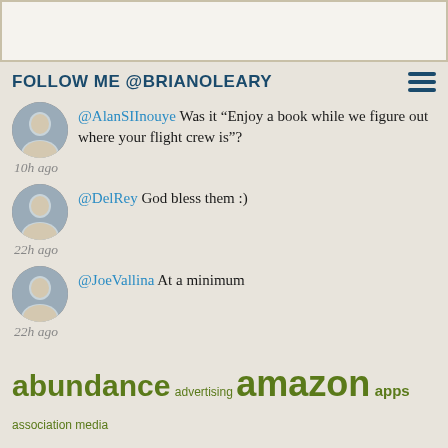[Figure (other): White/light banner image at top of page]
FOLLOW ME @BRIANOLEARY
@AlanSIInouye Was it “Enjoy a book while we figure out where your flight crew is”?
10h ago
@DelRey God bless them :)
22h ago
@JoeVallina At a minimum
22h ago
abundance advertising amazon apps association media associations b2b bisg booknet canada books competition conferences content marketing content strategy context first copyright